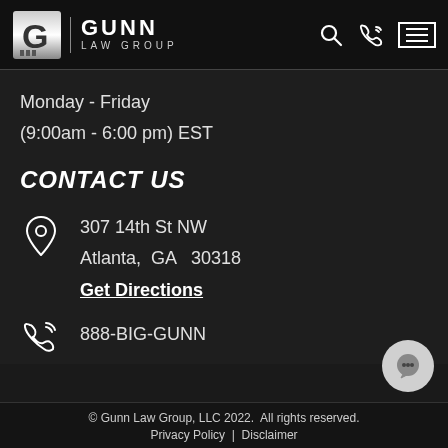[Figure (logo): Gunn Law Group logo with stylized G letter and text]
Monday - Friday
(9:00am - 6:00 pm) EST
CONTACT US
307 14th St NW
Atlanta,  GA   30318
Get Directions
888-BIG-GUNN
© Gunn Law Group, LLC 2022. All rights reserved.
Privacy Policy  |  Disclaimer